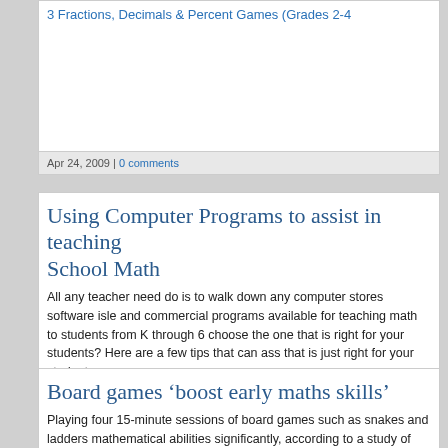3 Fractions, Decimals & Percent Games (Grades 2-4
Apr 24, 2009 | 0 comments
Using Computer Programs to assist in teaching School Math
All any teacher need do is to walk down any computer stores software isle and commercial programs available for teaching math to students from K through 6 choose the one that is right for your students? Here are a few tips that can ass that is just right for your students:
Mar 02, 2009 | 2 comments
Board games 'boost early maths skills'
Playing four 15-minute sessions of board games such as snakes and ladders mathematical abilities significantly, according to a study of four and five-year-o numerical tests is still measurable nine weeks later.
The researchers w